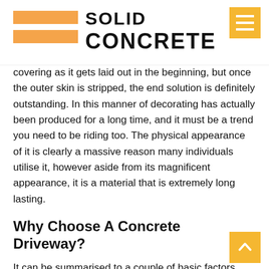SOLID CONCRETE
covering as it gets laid out in the beginning, but once the outer skin is stripped, the end solution is definitely outstanding. In this manner of decorating has actually been produced for a long time, and it must be a trend you need to be riding too. The physical appearance of it is clearly a massive reason many individuals utilise it, however aside from its magnificent appearance, it is a material that is extremely long lasting.
Why Choose A Concrete Driveway?
It can be summarised to a couple of basic factors, connecting to time, expense, and also style.
The first is that producing an exposed aggregate driveway in Stirling gives a fantastic appearance at a cost effective rate. It is very durable and also will certainly last the test of time. Secondly, the cost of it